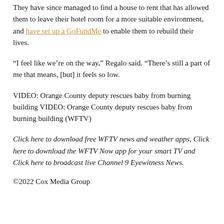They have since managed to find a house to rent that has allowed them to leave their hotel room for a more suitable environment, and have set up a GoFundMe to enable them to rebuild their lives.
“I feel like we’re on the way,” Regalo said. “There’s still a part of me that means, [but] it feels so low.
VIDEO: Orange County deputy rescues baby from burning building VIDEO: Orange County deputy rescues baby from burning building (WFTV)
Click here to download free WFTV news and weather apps, Click here to download the WFTV Now app for your smart TV and Click here to broadcast live Channel 9 Eyewitness News.
©2022 Cox Media Group